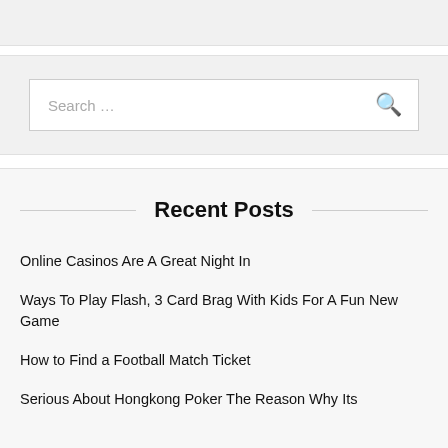[Figure (screenshot): Top gray bar area]
[Figure (screenshot): Search box with placeholder text 'Search ...' and a search icon button]
Recent Posts
Online Casinos Are A Great Night In
Ways To Play Flash, 3 Card Brag With Kids For A Fun New Game
How to Find a Football Match Ticket
Serious About Hongkong Poker The Reason Why Its